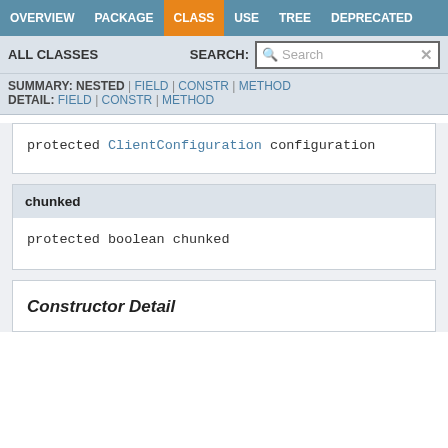OVERVIEW  PACKAGE  CLASS  USE  TREE  DEPRECATED
ALL CLASSES  SEARCH:
SUMMARY: NESTED | FIELD | CONSTR | METHOD
DETAIL: FIELD | CONSTR | METHOD
protected ClientConfiguration configuration
chunked
protected boolean chunked
Constructor Detail